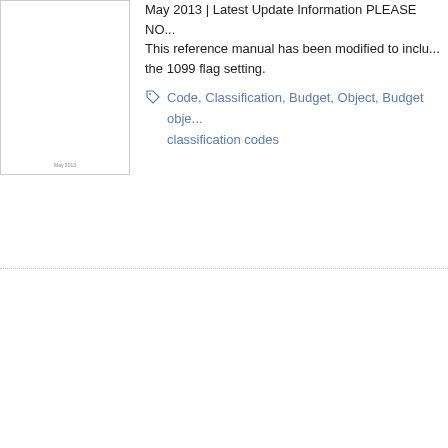[Figure (other): Small thumbnail image of a document page with 'May 2013' label at the bottom]
May 2013 | Latest Update Information PLEASE NO... This reference manual has been modified to inclu... the 1099 flag setting.
Code, Classification, Budget, Object, Budget obje... classification codes